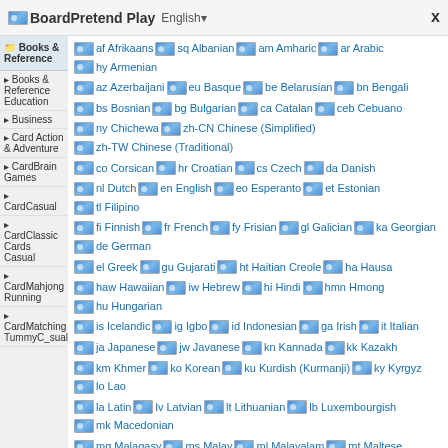BoardPretend Play English
Books & Reference
af Afrikaans sq Albanian am Amharic ar Arabic hy Armenian az Azerbaijani eu Basque be Belarusian bn Bengali bs Bosnian bg Bulgarian ca Catalan ceb Cebuano ny Chichewa zh-CN Chinese (Simplified) zh-TW Chinese (Traditional) co Corsican hr Croatian cs Czech da Danish nl Dutch en English eo Esperanto et Estonian tl Filipino fi Finnish fr French fy Frisian gl Galician ka Georgian de German el Greek gu Gujarati ht Haitian Creole ha Hausa haw Hawaiian iw Hebrew hi Hindi hmn Hmong hu Hungarian is Icelandic ig Igbo id Indonesian ga Irish it Italian ja Japanese jw Javanese kn Kannada kk Kazakh km Khmer ko Korean ku Kurdish (Kurmanji) ky Kyrgyz lo Lao la Latin lv Latvian lt Lithuanian lb Luxembourgish mk Macedonian mg Malagasy ms Malay ml Malayalam mt Maltese mi Maori mr Marathi mn Mongolian my Myanmar (Burmese) ne Nepali no Norwegian ps Pashto fa Persian pl Polish pt Portuguese pa Punjabi ro Romanian ru Russian sm Samoan gd Scottish Gaelic sr Serbian st Sesotho sn Shona sd Sindhi si Sinhala sk Slovak sl Slovenian so Somali es Spanish su Sudanese sw Swahili sv Swedish tl Tagalog tg Tajik ta Tamil te Telugu th Thai tr Turkish
Books & Reference Education
Business
Card Action & Adventure
CardBrain Games
CardCasual
CardClassic Cards Casual
CardMahjong
CardSolitaire
CardMumryC_sual
CardMatching